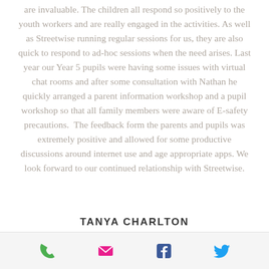are invaluable. The children all respond so positively to the youth workers and are really engaged in the activities. As well as Streetwise running regular sessions for us, they are also quick to respond to ad-hoc sessions when the need arises. Last year our Year 5 pupils were having some issues with virtual chat rooms and after some consultation with Nathan he quickly arranged a parent information workshop and a pupil workshop so that all family members were aware of E-safety precautions. The feedback form the parents and pupils was extremely positive and allowed for some productive discussions around internet use and age appropriate apps. We look forward to our continued relationship with Streetwise.
TANYA CHARLTON
[phone] [email] [facebook] [twitter]